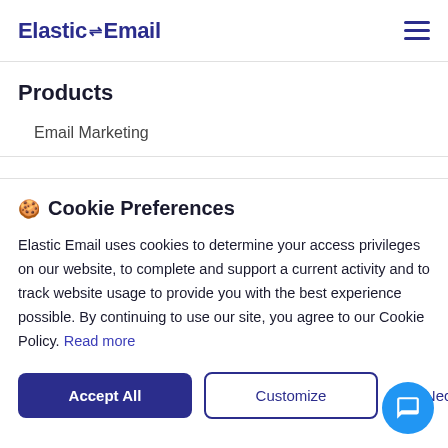Elastic Email
Products
Email Marketing
🍪 Cookie Preferences
Elastic Email uses cookies to determine your access privileges on our website, to complete and support a current activity and to track website usage to provide you with the best experience possible. By continuing to use our site, you agree to our Cookie Policy. Read more
Accept All | Customize | Use Necessary